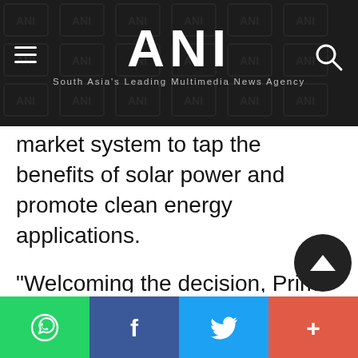ANI — South Asia's Leading Multimedia News Agency
market system to tap the benefits of solar power and promote clean energy applications.
"Welcoming the decision, Prime Minister Modi said that Sweden expertise and experience in clean and renewable energy will contribute significantly to the solar alliance and our collective effort to meet the challenge of climate change," he said.